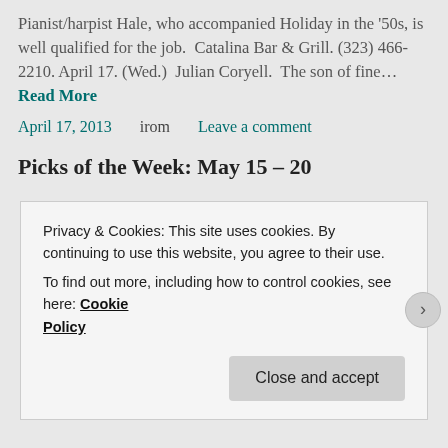Pianist/harpist Hale, who accompanied Holiday in the '50s, is well qualified for the job. Catalina Bar & Grill. (323) 466-2210. April 17. (Wed.) Julian Coryell. The son of fine… Read More
April 17, 2013   irom   Leave a comment
Picks of the Week: May 15 – 20
Privacy & Cookies: This site uses cookies. By continuing to use this website, you agree to their use. To find out more, including how to control cookies, see here: Cookie Policy